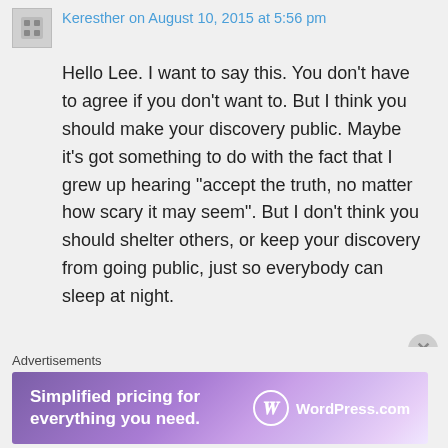Keresther on August 10, 2015 at 5:56 pm
Hello Lee. I want to say this. You don't have to agree if you don't want to. But I think you should make your discovery public. Maybe it's got something to do with the fact that I grew up hearing “accept the truth, no matter how scary it may seem”. But I don't think you should shelter others, or keep your discovery from going public, just so everybody can sleep at night.
Advertisements
[Figure (other): WordPress.com advertisement banner: 'Simplified pricing for everything you need.' with WordPress.com logo on a purple gradient background.]